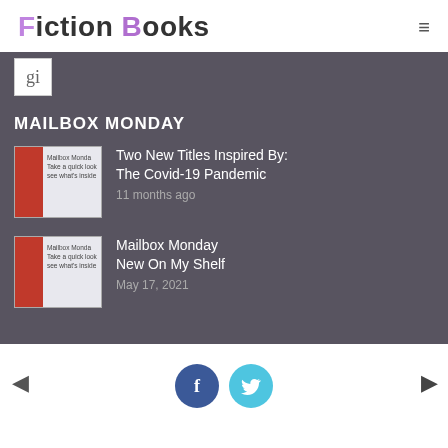Fiction Books
MAILBOX MONDAY
[Figure (illustration): Mailbox Monday thumbnail with red postbox]
Two New Titles Inspired By: The Covid-19 Pandemic
11 months ago
[Figure (illustration): Mailbox Monday thumbnail with red postbox]
Mailbox Monday New On My Shelf
May 17, 2021